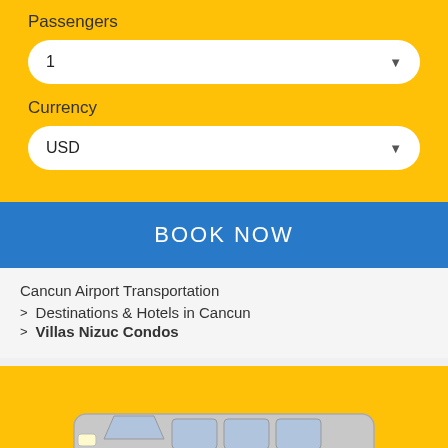Passengers
1
Currency
USD
BOOK NOW
Cancun Airport Transportation
> Destinations & Hotels in Cancun
> Villas Nizuc Condos
[Figure (illustration): A silver/white van vehicle illustration against a yellow background]